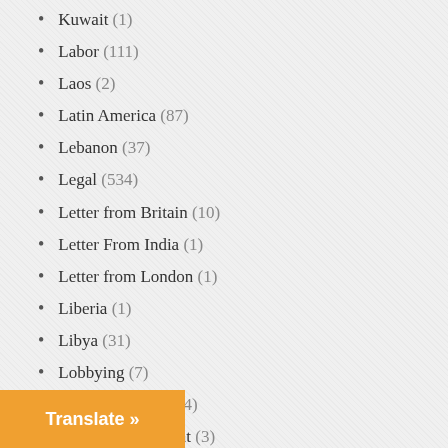Kuwait (1)
Labor (111)
Laos (2)
Latin America (87)
Lebanon (37)
Legal (534)
Letter from Britain (10)
Letter From India (1)
Letter from London (1)
Liberia (1)
Libya (31)
Lobbying (7)
Lost History (1,744)
Madeleine Albright (3)
Mali (7)
Media (2,795)
Mexico (25)
(133)
(239)